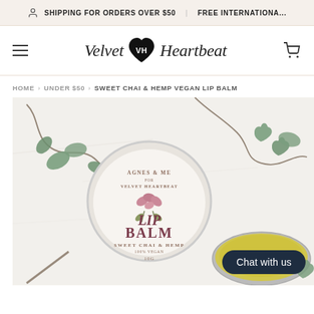SHIPPING FOR ORDERS OVER $50 | FREE INTERNATIONAL
Velvet Heartbeat
HOME > UNDER $50 > SWEET CHAI & HEMP VEGAN LIP BALM
[Figure (photo): Product photo of Agnes & Me for Velvet Heartbeat Lip Balm in Sweet Chai & Hemp, 10g tin, surrounded by trailing green vine leaves on a white marble surface. An open tin showing yellow balm is visible in the lower right. A 'Chat with us' button overlay appears in the lower right corner.]